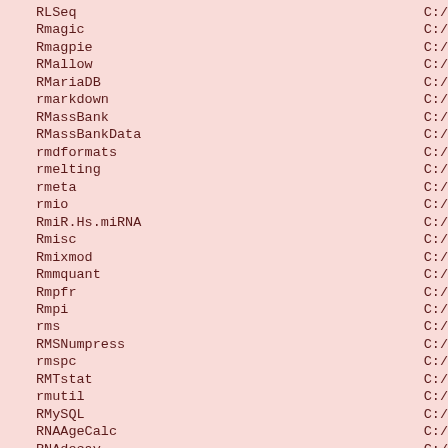RLSeq    C:/
Rmagic    C:/
Rmagpie    C:/
RMallow    C:/
RMariaDB    C:/
rmarkdown    C:/
RMassBank    C:/
RMassBankData    C:/
rmdformats    C:/
rmelting    C:/
rmeta    C:/
rmio    C:/
RmiR.Hs.miRNA    C:/
Rmisc    C:/
Rmixmod    C:/
Rmmquant    C:/
Rmpfr    C:/
Rmpi    C:/
rms    C:/
RMSNumpress    C:/
rmspc    C:/
RMTstat    C:/
rmutil    C:/
RMySQL    C:/
RNAAgeCalc    C:/
RNAdecay    C:/
rnaEditr    C:/
RNAinteract    C:/